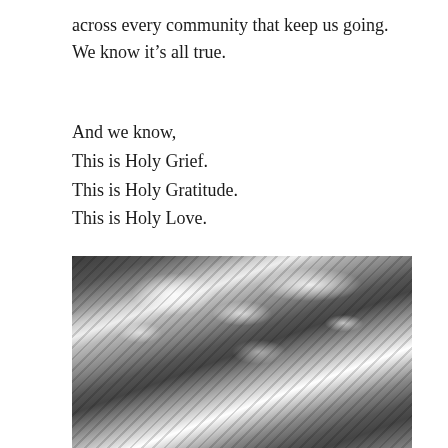across every community that keep us going. We know it’s all true.
And we know,
This is Holy Grief.
This is Holy Gratitude.
This is Holy Love.
May it be so.
[Figure (photo): Black and white close-up photograph of what appears to be ridged or corrugated surfaces (possibly pinecones or woven material) covered with snow or ice crystals.]